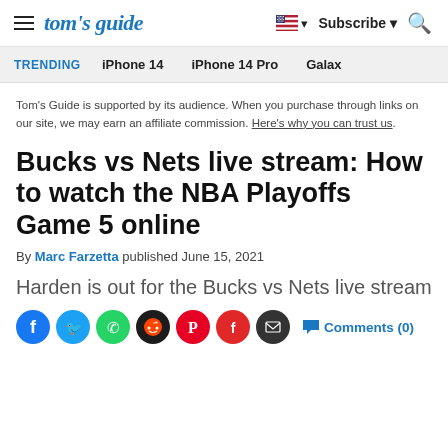tom's guide — Subscribe — Search
TRENDING  iPhone 14  iPhone 14 Pro  Galaxy
Tom's Guide is supported by its audience. When you purchase through links on our site, we may earn an affiliate commission. Here's why you can trust us.
Bucks vs Nets live stream: How to watch the NBA Playoffs Game 5 online
By Marc Farzetta published June 15, 2021
Harden is out for the Bucks vs Nets live stream
Comments (0)